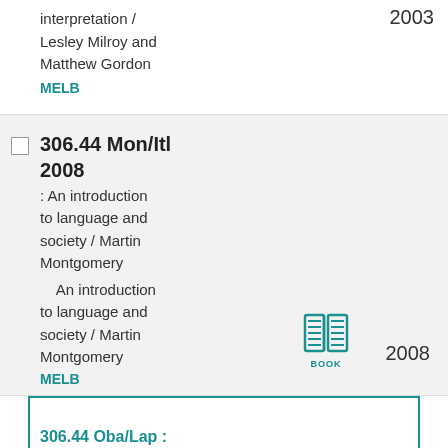interpretation / Lesley Milroy and Matthew Gordon
MELB
2003
306.44 Mon/Itl 2008
: An introduction to language and society / Martin Montgomery
An introduction to language and society / Martin Montgomery
[Figure (illustration): Book icon in teal color with label BOOK]
MELB
2008
306.44 Oba/Lap :